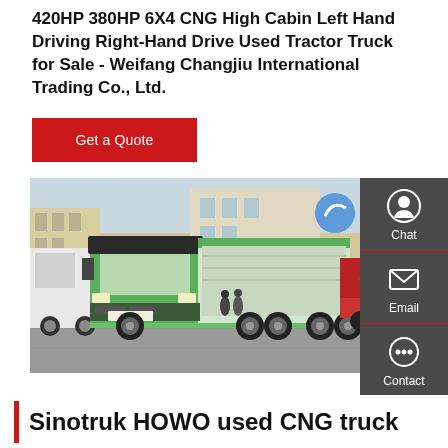420HP 380HP 6X4 CNG High Cabin Left Hand Driving Right-Hand Drive Used Tractor Truck for Sale - Weifang Changjiu International Trading Co., Ltd.
Get a Quote
[Figure (photo): Green Sinotruk HOWO CNG truck parked outdoors in a plaza, front-left view, with other trucks and a building visible in background.]
Sinotruk HOWO used CNG truck